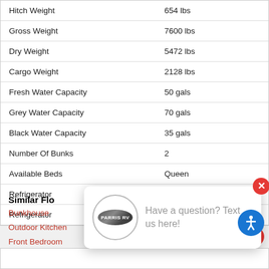| Specification | Value |
| --- | --- |
| Hitch Weight | 654 lbs |
| Gross Weight | 7600 lbs |
| Dry Weight | 5472 lbs |
| Cargo Weight | 2128 lbs |
| Fresh Water Capacity | 50 gals |
| Grey Water Capacity | 70 gals |
| Black Water Capacity | 35 gals |
| Number Of Bunks | 2 |
| Available Beds | Queen |
| Refrigerator |  |
| Refrigerator |  |
Similar Floorplans
Bunkhouse
Outdoor Kitchen
Front Bedroom
[Figure (logo): Parris RV logo in an oval shape inside a circle, with chat popup overlay saying 'Have a question? Text us here!']